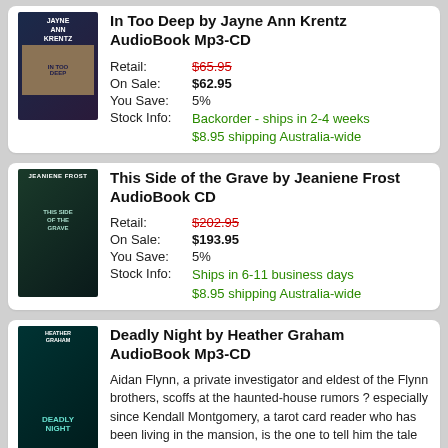[Figure (illustration): Book cover for 'In Too Deep' by Jayne Ann Krentz]
In Too Deep by Jayne Ann Krentz AudioBook Mp3-CD
| Retail: | $65.95 |
| On Sale: | $62.95 |
| You Save: | 5% |
| Stock Info: | Backorder - ships in 2-4 weeks
$8.95 shipping Australia-wide |
[Figure (illustration): Book cover for 'This Side of the Grave' by Jeaniene Frost]
This Side of the Grave by Jeaniene Frost AudioBook CD
| Retail: | $202.95 |
| On Sale: | $193.95 |
| You Save: | 5% |
| Stock Info: | Ships in 6-11 business days
$8.95 shipping Australia-wide |
[Figure (illustration): Book cover for 'Deadly Night' by Heather Graham]
Deadly Night by Heather Graham AudioBook Mp3-CD
Aidan Flynn, a private investigator and eldest of the Flynn brothers, scoffs at the haunted-house rumors ? especially since Kendall Montgomery, a tarot card reader who has been living in the mansion, is the one to tell him the tale of a woman in white. But when he finds a human bone on the grounds and another by the river, Aidan delves into the dark history of the Flynn plantation.Forced together ...
| Retail: | $68.95 |